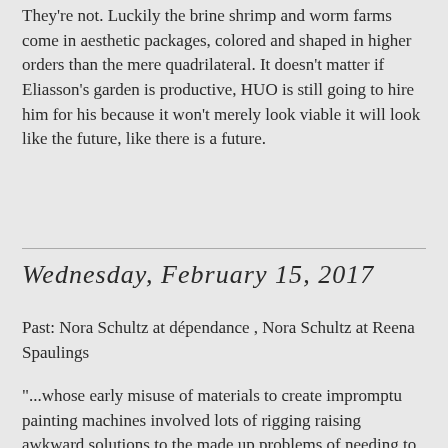They're not. Luckily the brine shrimp and worm farms come in aesthetic packages, colored and shaped in higher orders than the mere quadrilateral. It doesn't matter if Eliasson's garden is productive, HUO is still going to hire him for his because it won't merely look viable it will look like the future, like there is a future.
Wednesday, February 15, 2017
Past: Nora Schultz at dépendance , Nora Schultz at Reena Spaulings
"...whose early misuse of materials to create impromptu painting machines involved lots of rigging raising awkward solutions to the made up problems of needing to produce a painting to achieve that sort of elegance